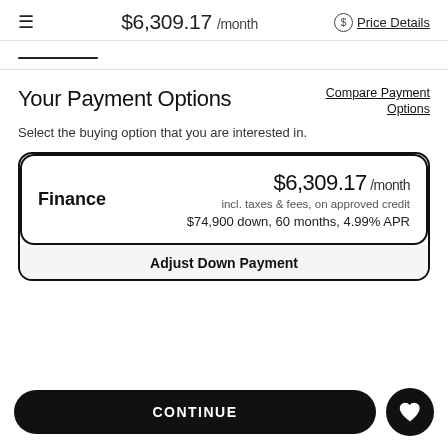≡  $6,309.17 /month  $ Price Details
Your Payment Options
Compare Payment Options
Select the buying option that you are interested in.
Finance  $6,309.17 /month  incl. taxes & fees, on approved credit  $74,900 down, 60 months, 4.99% APR
Adjust Down Payment
CONTINUE